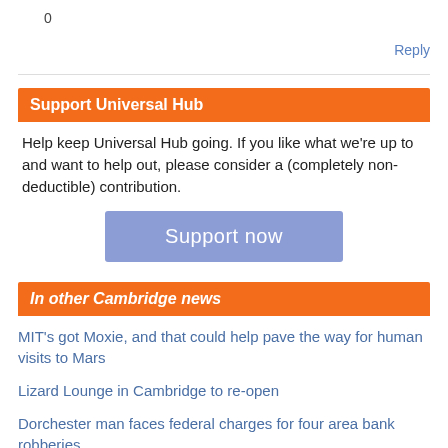0
Reply
Support Universal Hub
Help keep Universal Hub going. If you like what we're up to and want to help out, please consider a (completely non-deductible) contribution.
Support now
In other Cambridge news
MIT's got Moxie, and that could help pave the way for human visits to Mars
Lizard Lounge in Cambridge to re-open
Dorchester man faces federal charges for four area bank robberies